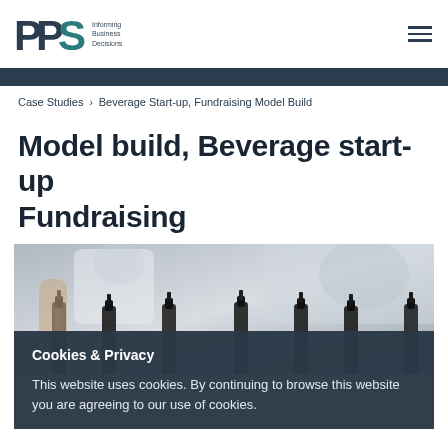PPS – Informing Business Decisions
Case Studies › Beverage Start-up, Fundraising Model Build
Model build, Beverage start-up Fundraising
[Figure (photo): Photograph of wine bottles lined up with a blurred background of a person in a white shirt]
Cookies & Privacy
This website uses cookies. By continuing to browse this website you are agreeing to our use of cookies.